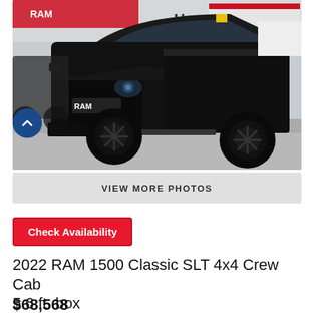[Figure (photo): Black 2022 RAM 1500 Classic SLT 4x4 Crew Cab truck photographed at a RAM dealership parking lot, front three-quarter view, all-black appearance with black wheels and RAM grille badge]
VIEW MORE PHOTOS
Check Availability
2022 RAM 1500 Classic SLT 4x4 Crew Cab 5.6 ft. box
$68,568